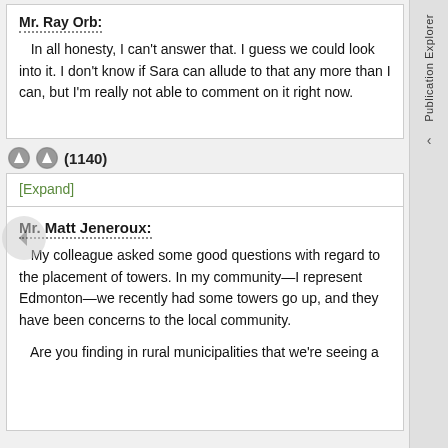Mr. Ray Orb:
In all honesty, I can't answer that. I guess we could look into it. I don't know if Sara can allude to that any more than I can, but I'm really not able to comment on it right now.
(1140)
[Expand]
Mr. Matt Jeneroux:
My colleague asked some good questions with regard to the placement of towers. In my community—I represent Edmonton—we recently had some towers go up, and they have been concerns to the local community.
Are you finding in rural municipalities that we're seeing a